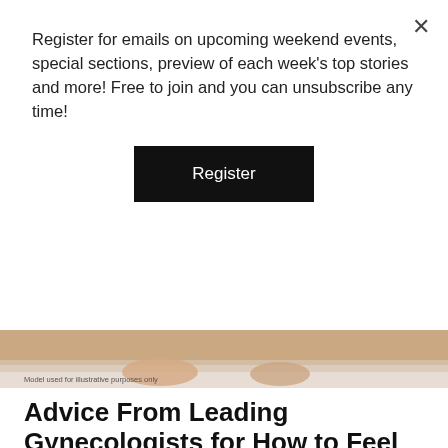Register for emails on upcoming weekend events, special sections, preview of each week's top stories and more! Free to join and you can unsubscribe any time!
Register
[Figure (photo): Close-up photo of feet/legs, model used for illustrative purposes only]
Model used for illustrative purposes only
Advice From Leading Gynecologists for How to Feel Your Best During Menopause
(BPT) - During menopause, levels of the female sex hormone estrogen decline dramatically, and this can affect everything from your hair, heart, and bones to your skin — especially your skin …
Young man's battle with genetic heart disease inspires hope
(BPT) - Many people start their stories with, "Heart disease and